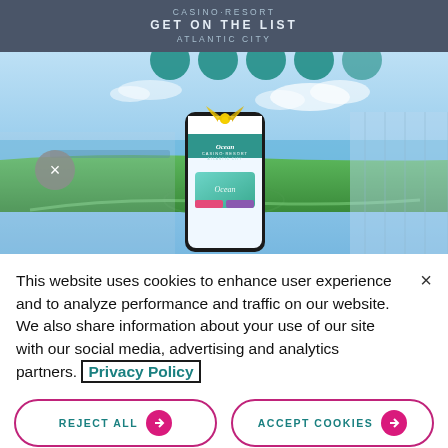CASINO·RESORT GET ON THE LIST ATLANTIC CITY
[Figure (screenshot): Ocean Casino Resort promotional image showing a smartphone with a gift bow and a golf course/rooftop view with ocean in background. A close button (X) is visible on the left side. Circular navigation tabs appear at the top.]
This website uses cookies to enhance user experience and to analyze performance and traffic on our website. We also share information about your use of our site with our social media, advertising and analytics partners. Privacy Policy
REJECT ALL
ACCEPT COOKIES